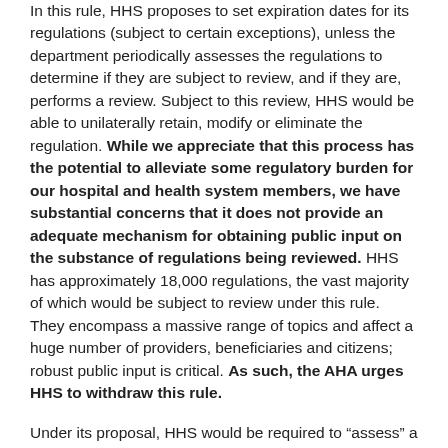In this rule, HHS proposes to set expiration dates for its regulations (subject to certain exceptions), unless the department periodically assesses the regulations to determine if they are subject to review, and if they are, performs a review. Subject to this review, HHS would be able to unilaterally retain, modify or eliminate the regulation. While we appreciate that this process has the potential to alleviate some regulatory burden for our hospital and health system members, we have substantial concerns that it does not provide an adequate mechanism for obtaining public input on the substance of regulations being reviewed. HHS has approximately 18,000 regulations, the vast majority of which would be subject to review under this rule. They encompass a massive range of topics and affect a huge number of providers, beneficiaries and citizens; robust public input is critical. As such, the AHA urges HHS to withdraw this rule.
Under its proposal, HHS would be required to “assess” a regulation every 10 years to determine if it has a significant economic impact upon a substantial number of small entities.